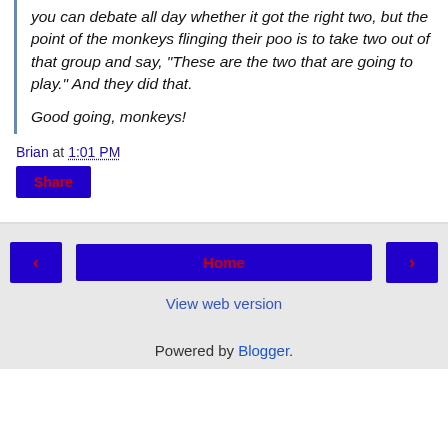you can debate all day whether it got the right two, but the point of the monkeys flinging their poo is to take two out of that group and say, "These are the two that are going to play." And they did that.

Good going, monkeys!
Brian at 1:01 PM
Share
‹  Home  ›
View web version
Powered by Blogger.